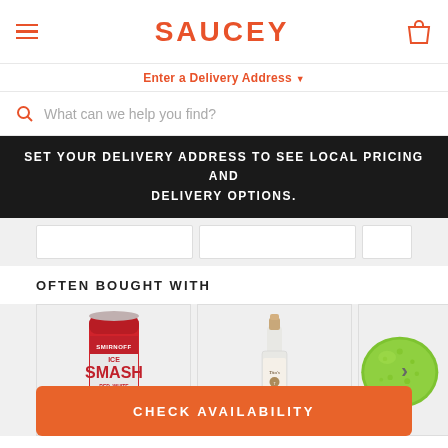SAUCEY
Enter a Delivery Address
What can we help you find?
SET YOUR DELIVERY ADDRESS TO SEE LOCAL PRICING AND DELIVERY OPTIONS.
OFTEN BOUGHT WITH
[Figure (photo): Product carousel showing Smirnoff Ice Smash Red White & Berry can, Tito's Handmade Vodka bottle, and a lime]
CHECK AVAILABILITY